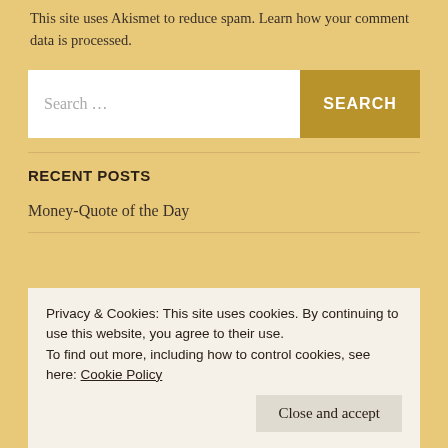This site uses Akismet to reduce spam. Learn how your comment data is processed.
Search ...
RECENT POSTS
Money-Quote of the Day
Privacy & Cookies: This site uses cookies. By continuing to use this website, you agree to their use.
To find out more, including how to control cookies, see here: Cookie Policy
Close and accept
How 'Fear' Stole my 'Crown.'